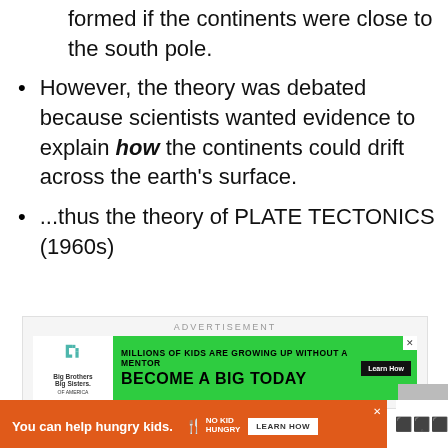formed if the continents were close to the south pole.
However, the theory was debated because scientists wanted evidence to explain how the continents could drift across the earth's surface.
...thus the theory of PLATE TECTONICS (1960s)
[Figure (infographic): Advertisement banner: Big Brothers Big Sisters. Text: MILLIONS OF KIDS ARE GROWING UP WITHOUT A MENTOR. BECOME A BIG TODAY. Learn How button. Green background.]
[Figure (infographic): Bottom advertisement orange banner: You can help hungry kids. No Kid Hungry logo. LEARN HOW button. Wheaton logo with degree symbol at right.]